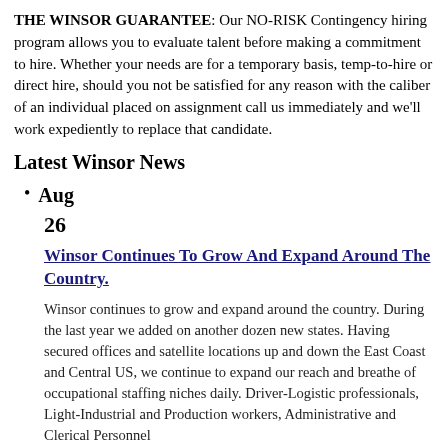THE WINSOR GUARANTEE: Our NO-RISK Contingency hiring program allows you to evaluate talent before making a commitment to hire. Whether your needs are for a temporary basis, temp-to-hire or direct hire, should you not be satisfied for any reason with the caliber of an individual placed on assignment call us immediately and we'll work expediently to replace that candidate.
Latest Winsor News
Aug
26
Winsor Continues To Grow And Expand Around The Country.
Winsor continues to grow and expand around the country. During the last year we added on another dozen new states. Having secured offices and satellite locations up and down the East Coast and Central US, we continue to expand our reach and breathe of occupational staffing niches daily. Driver-Logistic professionals, Light-Industrial and Production workers, Administrative and Clerical Personnel